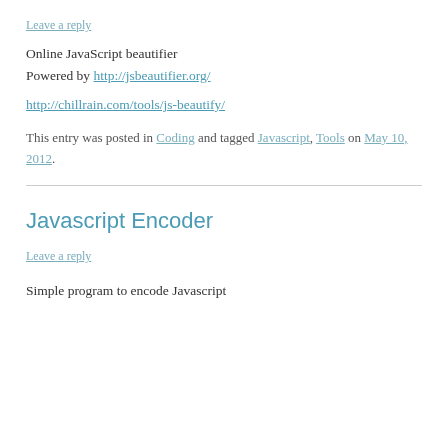Leave a reply
Online JavaScript beautifier
Powered by http://jsbeautifier.org/
http://chillrain.com/tools/js-beautify/
This entry was posted in Coding and tagged Javascript, Tools on May 10, 2012.
Javascript Encoder
Leave a reply
Simple program to encode Javascript